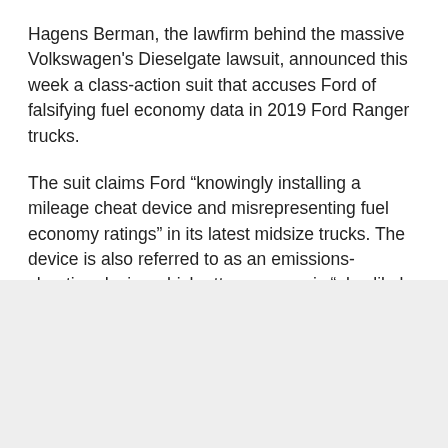Hagens Berman, the lawfirm behind the massive Volkswagen's Dieselgate lawsuit, announced this week a class-action suit that accuses Ford of falsifying fuel economy data in 2019 Ford Ranger trucks.
The suit claims Ford “knowingly installing a mileage cheat device and misrepresenting fuel economy ratings” in its latest midsize trucks. The device is also referred to as an emissions-cheating device which attorneys say is “also likely installed in F-150 trucks and possibly all other Ford vehicles.”